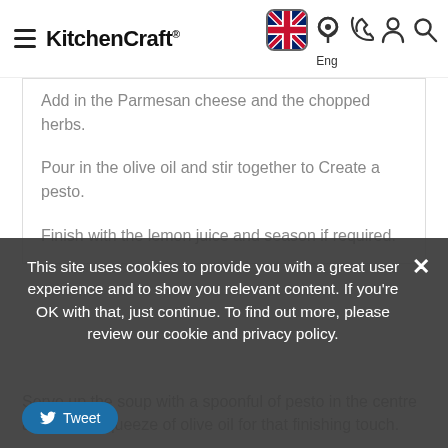KitchenCraft — Eng
Add in the Parmesan cheese and the chopped herbs.
Pour in the olive oil and stir together to Create a pesto.
Finish with the lemon juice and season if required.
Serve up the soup with a spoonful of pesto in the centre and add a squeeze of olive oil for that finishing touch.
This site uses cookies to provide you with a great user experience and to show you relevant content. If you're OK with that, just continue. To find out more, please review our cookie and privacy policy.